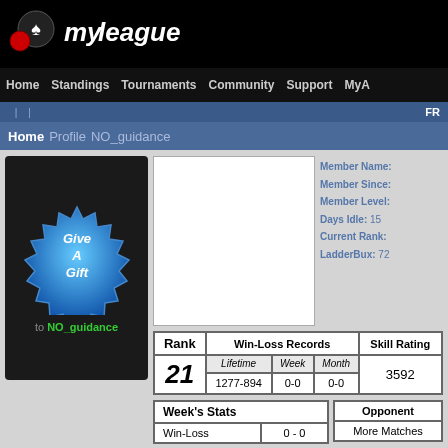my league
Home | Standings | Tournaments | Community | Support | MyA...
FR...
Home > Profile > NO_guidance
[Figure (illustration): Give A Gift badge/button to NO_guidance]
[Figure (photo): Avatar image placeholder (white box)]
Member Name:
Member Since:
Member Level:
Days Idle: 15
Current Rank:
LadderBux: 72
| Rank | Win-Loss Records | Skill Rating |
| --- | --- | --- |
| 21 | Lifetime: 1277-894 | Week: 0-0 | Month: 0-0 | 3592 |
| Week's Stats |  |
| --- | --- |
| Win-Loss | 0 - 0 |
| Opponent |
| --- |
| More Matches |